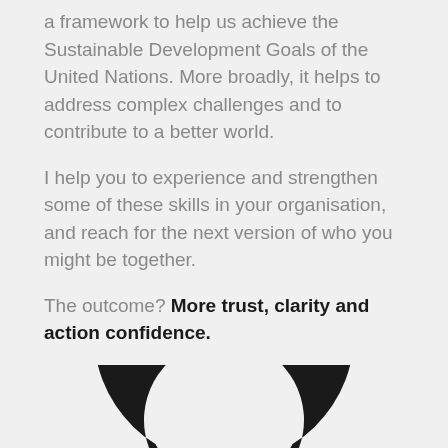a framework to help us achieve the Sustainable Development Goals of the United Nations. More broadly, it helps to address complex challenges and to contribute to a better world.

I help you to experience and strengthen some of these skills in your organisation, and reach for the next version of who you might be together.

The outcome? More trust, clarity and action confidence.
[Figure (illustration): A circular ring/wheel icon shown in black, resembling a segmented circular diagram or wheel with divisions, partially cut off at the bottom of the page.]